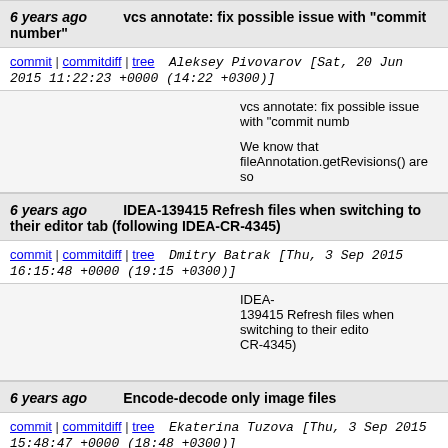6 years ago   vcs annotate: fix possible issue with "commit number"
commit | commitdiff | tree   Aleksey Pivovarov [Sat, 20 Jun 2015 11:22:23 +0000 (14:22 +0300)]
vcs annotate: fix possible issue with "commit numb...

We know that fileAnnotation.getRevisions() are so...
6 years ago   IDEA-139415 Refresh files when switching to their editor tab (following IDEA-CR-4345)
commit | commitdiff | tree   Dmitry Batrak [Thu, 3 Sep 2015 16:15:48 +0000 (19:15 +0300)]
IDEA-139415 Refresh files when switching to their editor tab (following IDEA-CR-4345)
6 years ago   Encode-decode only image files
commit | commitdiff | tree   Ekaterina Tuzova [Thu, 3 Sep 2015 15:48:47 +0000 (18:48 +0300)]
Encode-decode only image files
6 years ago   Updated PyCharm Edu name in UI